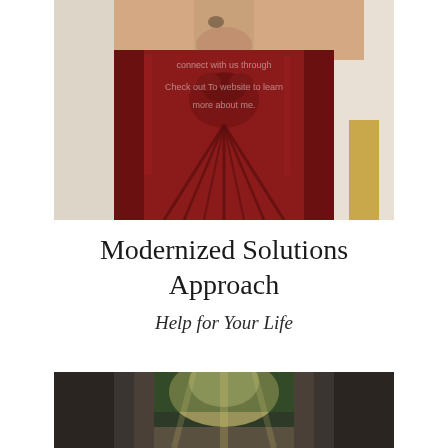[Figure (photo): Close-up photo of a person wearing a deep red/burgundy velvet draped skirt or dress with a tied knot at the front, with faint watermark text overlay]
Modernized Solutions Approach
Help for Your Life
[Figure (photo): Landscape photo of a narrow rocky gorge or canyon with sunlight filtering through trees]